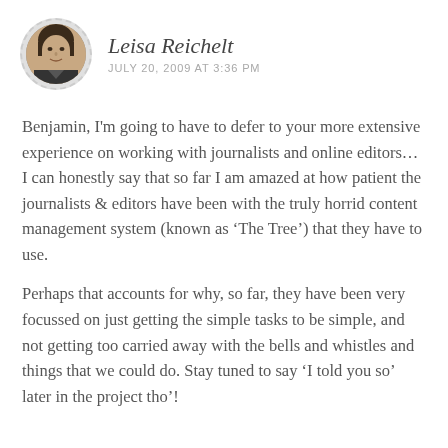Leisa Reichelt
JULY 20, 2009 AT 3:36 PM
Benjamin, I'm going to have to defer to your more extensive experience on working with journalists and online editors… I can honestly say that so far I am amazed at how patient the journalists & editors have been with the truly horrid content management system (known as 'The Tree') that they have to use.
Perhaps that accounts for why, so far, they have been very focussed on just getting the simple tasks to be simple, and not getting too carried away with the bells and whistles and things that we could do. Stay tuned to say 'I told you so' later in the project tho'!